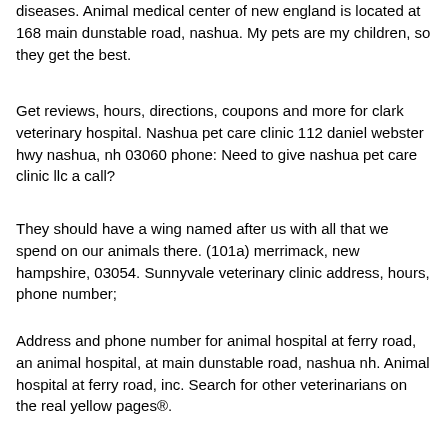diseases. Animal medical center of new england is located at 168 main dunstable road, nashua. My pets are my children, so they get the best.
Get reviews, hours, directions, coupons and more for clark veterinary hospital. Nashua pet care clinic 112 daniel webster hwy nashua, nh 03060 phone: Need to give nashua pet care clinic llc a call?
They should have a wing named after us with all that we spend on our animals there. (101a) merrimack, new hampshire, 03054. Sunnyvale veterinary clinic address, hours, phone number;
Address and phone number for animal hospital at ferry road, an animal hospital, at main dunstable road, nashua nh. Animal hospital at ferry road, inc. Search for other veterinarians on the real yellow pages®.